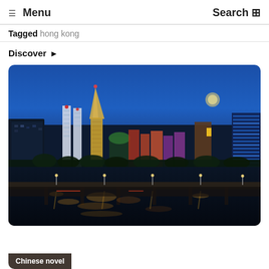☰ Menu   Search ⊞
Tagged hong kong
Discover ▸
[Figure (photo): Night cityscape of Macau with illuminated Grand Lisboa tower and casino buildings reflected in the water, with a bridge in the foreground]
Chinese novel